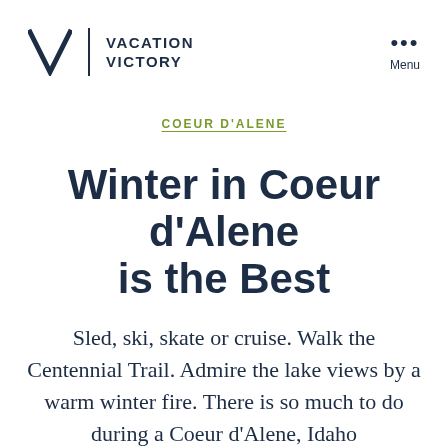VACATION VICTORY | Menu
COEUR D'ALENE
Winter in Coeur d'Alene is the Best
Sled, ski, skate or cruise. Walk the Centennial Trail. Admire the lake views by a warm winter fire. There is so much to do during a Coeur d'Alene, Idaho